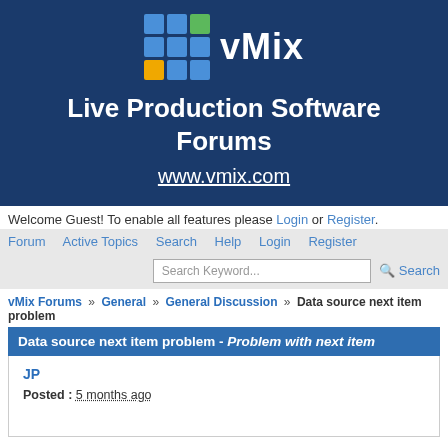[Figure (logo): vMix logo with colored grid squares and 'vMix' text, banner with 'Live Production Software Forums' and 'www.vmix.com']
Welcome Guest! To enable all features please Login or Register.
Forum  Active Topics  Search  Help  Login  Register
Search Keyword...  Search
vMix Forums » General » General Discussion » Data source next item problem
Data source next item problem - Problem with next item
JP
Posted : 5 months ago